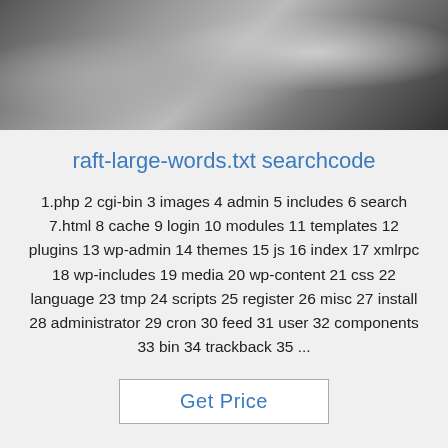[Figure (photo): Top portion showing a metallic/shiny surface, likely a fabric or material with reflective sheen, dark and silver tones.]
raft-large-words.txt searchcode
1.php 2 cgi-bin 3 images 4 admin 5 includes 6 search 7.html 8 cache 9 login 10 modules 11 templates 12 plugins 13 wp-admin 14 themes 15 js 16 index 17 xmlrpc 18 wp-includes 19 media 20 wp-content 21 css 22 language 23 tmp 24 scripts 25 register 26 misc 27 install 28 administrator 29 cron 30 feed 31 user 32 components 33 bin 34 trackback 35 ...
Get Price
[Figure (photo): Bottom photo showing an industrial or warehouse interior with large windows and concrete walls, with a 'TOP' logo watermark in the bottom right corner.]